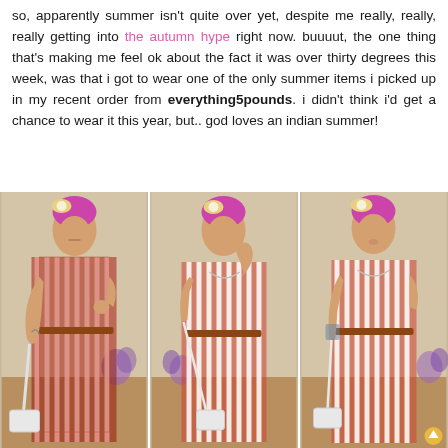so, apparently summer isn't quite over yet, despite me really, really, really getting into the autumn hype right now. buuuut, the one thing that's making me feel ok about the fact it was over thirty degrees this week, was that i got to wear one of the only summer items i picked up in my recent order from everything5pounds. i didn't think i'd get a chance to wear it this year, but.. god loves an indian summer!
[Figure (photo): Three side-by-side photos of a person wearing a red and white striped sleeveless maxi dress with a brown belt, pink hair with a floral headpiece, and carrying a white handbag. Background shows a room setting.]